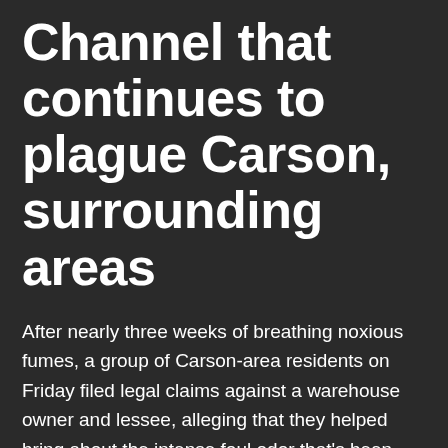Channel that continues to plague Carson, surrounding areas
After nearly three weeks of breathing noxious fumes, a group of Carson-area residents on Friday filed legal claims against a warehouse owner and lessee, alleging that they helped bring about the intense foul odor that's been lingering over their city.
The lawsuit, filed with Los Angeles Superior Court, alleges that Art Naturals, a Gardena-based beauty supply